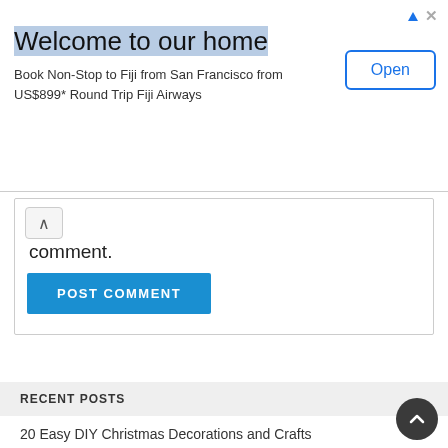[Figure (screenshot): Advertisement banner: 'Welcome to our home' - Book Non-Stop to Fiji from San Francisco from US$899* Round Trip Fiji Airways with an Open button]
comment.
POST COMMENT
RECENT POSTS
20 Easy DIY Christmas Decorations and Crafts
30 Easy DIY Gifts Under $5
20 Alternative Christmas Tree Ideas
14 Creative “Gift In A Jar” Ideas